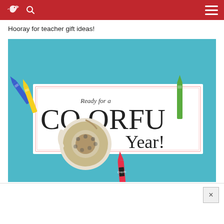Bird logo, search icon, hamburger menu on red background
Hooray for teacher gift ideas!
[Figure (photo): Photo of a colorful school supply scene: a white card reading 'Ready for a CO ORFU Year!' surrounded by crayons (blue, yellow, green, pink/red) and a roll of Crayola tape on a teal blue background.]
Close button (×)